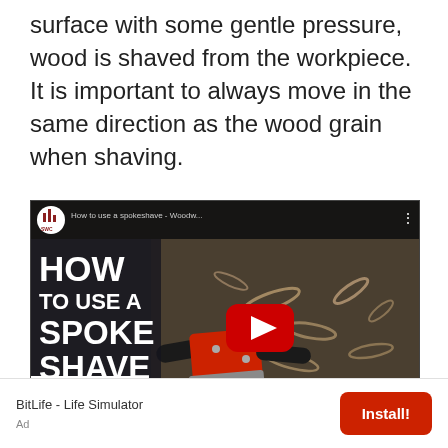surface with some gentle pressure, wood is shaved from the workpiece. It is important to always move in the same direction as the wood grain when shaving.
[Figure (screenshot): YouTube video thumbnail for 'How to use a spokeshave - Woodw...' by SWC channel. Shows a red and black spokeshave tool surrounded by wood shavings on a light surface. Large white bold text on left reads 'HOW TO USE A SPOKE SHAVE'. Red YouTube play button in center. SWC logo in top-left circle and bottom-left white box.]
BitLife - Life Simulator
Ad
Install!